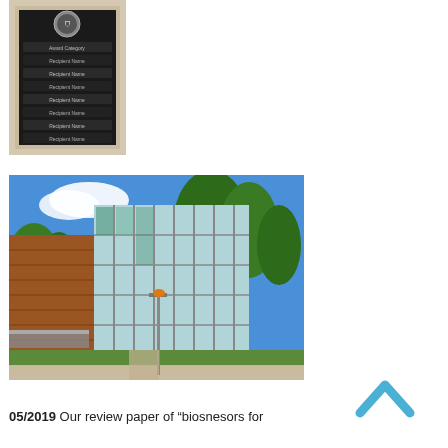[Figure (photo): Photo of an award plaque with a university seal at the top. The plaque has a dark background with multiple rows of text listing award recipients and years.]
[Figure (photo): Photo of a modern university or research building with large glass facade, brick exterior, trees, blue sky, and a sidewalk in front.]
[Figure (other): A light blue upward-pointing chevron/caret icon used as a scroll-to-top button.]
05/2019 Our review paper of "biosnesors for